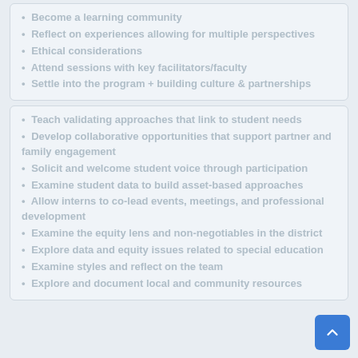• Become a learning community
• Reflect on experiences allowing for multiple perspectives
• Ethical considerations
• Attend sessions with key facilitators/faculty
• Settle into the program + building culture & partnerships
• Teach validating approaches that link to student needs
• Develop collaborative opportunities that support partner and family engagement
• Solicit and welcome student voice through participation
• Examine student data to build asset-based approaches
• Allow interns to co-lead events, meetings, and professional development
• Examine the equity lens and non-negotiables in the district
• Explore data and equity issues related to special education
• Examine styles and reflect on the team
• Explore and document local and community resources